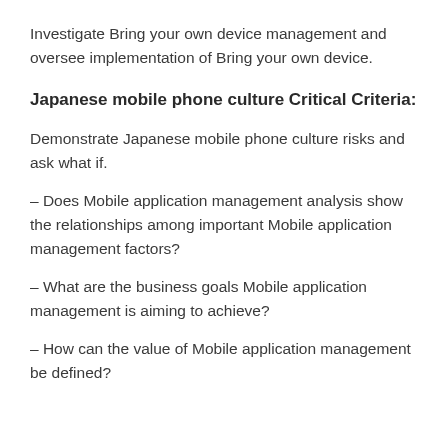Investigate Bring your own device management and oversee implementation of Bring your own device.
Japanese mobile phone culture Critical Criteria:
Demonstrate Japanese mobile phone culture risks and ask what if.
– Does Mobile application management analysis show the relationships among important Mobile application management factors?
– What are the business goals Mobile application management is aiming to achieve?
– How can the value of Mobile application management be defined?